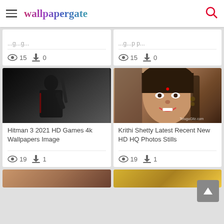wallpapergate
[Figure (screenshot): Wallpaper gate website screenshot showing a grid of wallpaper cards with view and download counts]
15 views, 0 downloads (top left card)
15 views, 0 downloads (top right card)
[Figure (photo): Hitman 3 silhouette game character with gun dark background]
Hitman 3 2021 HD Games 4k Wallpapers Image
19 views, 1 download
[Figure (photo): Krithi Shetty actress close-up smiling photo with TeluguGilz.com watermark]
Krithi Shetty Latest Recent New HD HQ Photos Stills
19 views, 1 download